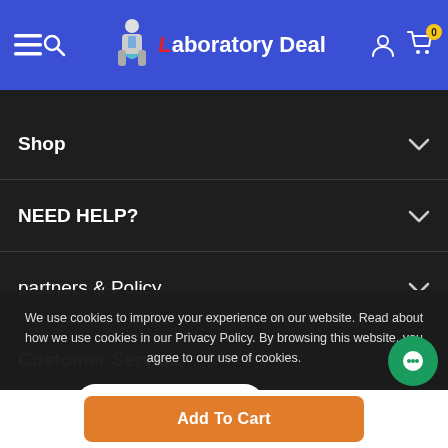Laboratory Deal - navigation header with hamburger menu, search, logo, user account, and cart (0 items)
Shop
NEED HELP?
partners & Policy
Customer Service
We use cookies to improve your experience on our website. Read about how we use cookies in our Privacy Policy. By browsing this website, you agree to our use of cookies.
ACCEPT COOKIES | Privacy Policy
Add To Cart